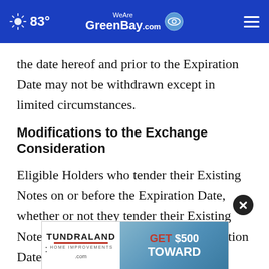83° WeAreGreenBay.com
the date hereof and prior to the Expiration Date may not be withdrawn except in limited circumstances.
Modifications to the Exchange Consideration
Eligible Holders who tender their Existing Notes on or before the Expiration Date, whether or not they tender their Existing Notes before or after the Early Participation Date, whose Existing Notes are accepted for exchange, will receive the same